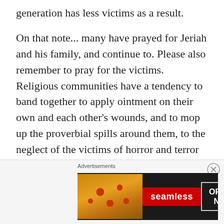generation has less victims as a result.
On that note... many have prayed for Jeriah and his family, and continue to. Please also remember to pray for the victims. Religious communities have a tendency to band together to apply ointment on their own and each other's wounds, and to mop up the proverbial spills around them, to the neglect of the victims of horror and terror whose lives have been forever altered.
[Figure (other): Advertisement banner for Seamless food delivery service showing pizza image on left, Seamless logo in red badge in center, and ORDER NOW button on right, all on dark background. Label 'Advertisements' above banner. Close button (X in circle) in top right.]